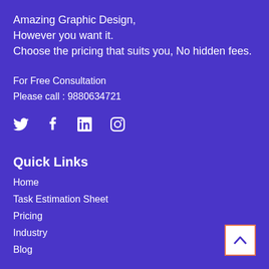Amazing Graphic Design,
However you want it.
Choose the pricing that suits you, No hidden fees.
For Free Consultation
Please call : 9880634721
[Figure (infographic): Social media icons: Twitter, Facebook, LinkedIn, Instagram]
Quick Links
Home
Task Estimation Sheet
Pricing
Industry
Blog
[Figure (illustration): Back to top button with upward chevron arrow, white square with orange border]